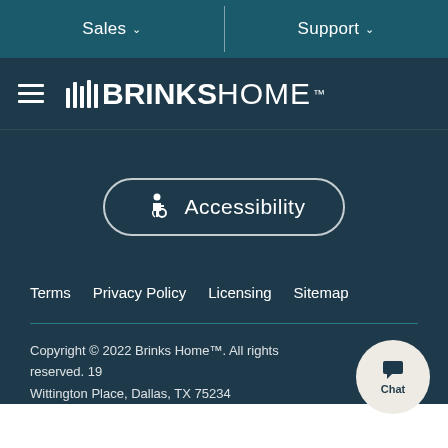Sales ∨   Support ∨
[Figure (logo): Brinks Home logo with vertical bar lines and hamburger menu icon]
[Figure (infographic): Accessibility button with wheelchair icon and text 'Accessibility']
Terms
Privacy Policy
Licensing
Sitemap
Copyright © 2022 Brinks Home™. All rights reserved. 1990 Wittington Place, Dallas, TX 75234